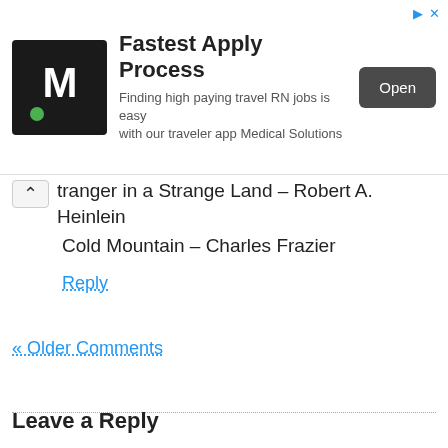[Figure (screenshot): Advertisement banner for Medical Solutions travel RN jobs app. Shows a black square logo with a white M and green dot, bold text 'Fastest Apply Process', subtitle 'Finding high paying travel RN jobs is easy with our traveler app Medical Solutions', and a dark 'Open' button.]
Stranger in a Strange Land – Robert A. Heinlein
Cold Mountain – Charles Frazier
Reply
« Older Comments
Leave a Reply